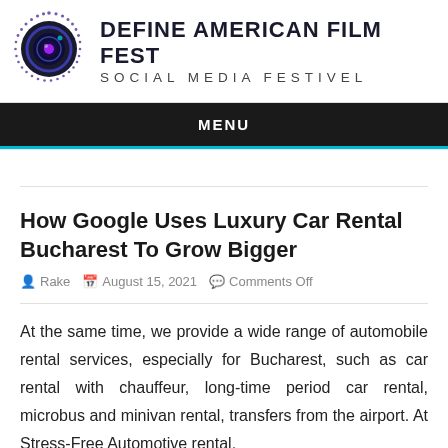[Figure (logo): Define American Film Fest logo with circular camera lens icon made of dots in blue and purple, with text 'DEFINE AMERICAN FILM FEST' and 'SOCIAL MEDIA FESTIVEL']
MENU
How Google Uses Luxury Car Rental Bucharest To Grow Bigger
Rake   August 15, 2021   Comments Off
At the same time, we provide a wide range of automobile rental services, especially for Bucharest, such as car rental with chauffeur, long-time period car rental, microbus and minivan rental, transfers from the airport. At Stress-Free Automotive rental,